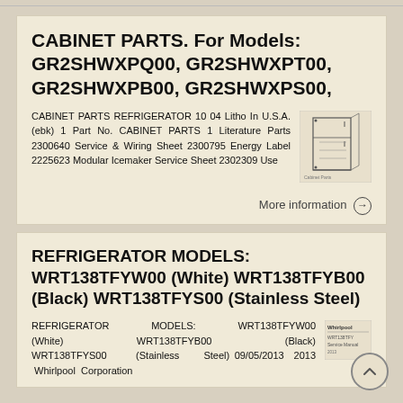CABINET PARTS. For Models: GR2SHWXPQ00, GR2SHWXPT00, GR2SHWXPB00, GR2SHWXPS00,
CABINET PARTS REFRIGERATOR 10 04 Litho In U.S.A. (ebk) 1 Part No. CABINET PARTS 1 Literature Parts 2300640 Service & Wiring Sheet 2300795 Energy Label 2225623 Modular Icemaker Service Sheet 2302309 Use
[Figure (engineering-diagram): Small thumbnail of refrigerator cabinet parts diagram]
More information →
REFRIGERATOR MODELS: WRT138TFYW00 (White) WRT138TFYB00 (Black) WRT138TFYS00 (Stainless Steel)
REFRIGERATOR MODELS: WRT138TFYW00 (White) WRT138TFYB00 (Black) WRT138TFYS00 (Stainless Steel) 09/05/2013 2013 Whirlpool Corporation
[Figure (logo): Small Whirlpool brand logo thumbnail]